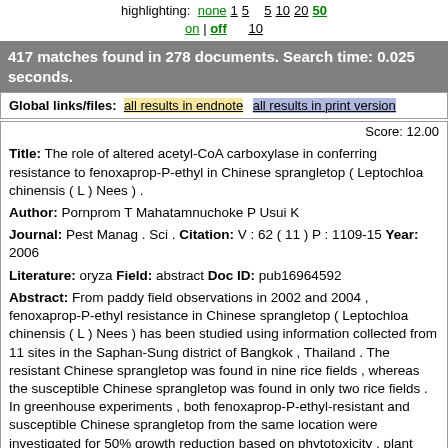highlighting: none 1 5   5 10 20 50
on | off   10
417 matches found in 278 documents. Search time: 0.025 seconds.
Global links/files: all results in endnote  all results in print version
Score: 12.00
Title: The role of altered acetyl-CoA carboxylase in conferring resistance to fenoxaprop-P-ethyl in Chinese sprangletop ( Leptochloa chinensis ( L ) Nees ) .
Author: Pornprom T Mahatamnuchoke P Usui K
Journal: Pest Manag . Sci . Citation: V : 62 ( 11 ) P : 1109-15 Year: 2006
Literature: oryza Field: abstract Doc ID: pub16964592
Abstract: From paddy field observations in 2002 and 2004 , fenoxaprop-P-ethyl resistance in Chinese sprangletop ( Leptochloa chinensis ( L ) Nees ) has been studied using information collected from 11 sites in the Saphan-Sung district of Bangkok , Thailand . The resistant Chinese sprangletop was found in nine rice fields , whereas the susceptible Chinese sprangletop was found in only two rice fields . In greenhouse experiments , both fenoxaprop-P-ethyl-resistant and susceptible Chinese sprangletop from the same location were investigated for 50% growth reduction based on phytotoxicity , plant height and fresh and dry weight . The resistant Chinese sprangletop showed apparent resistance at 14-21 days after herbicide application at a rate of 21 . 1-337 . 6 g Al ha ( -1 ) . The resistance index of resistant Chinese sprangletop was 10-25 times higher than that of the susceptible Chinese sprangletop . In addition